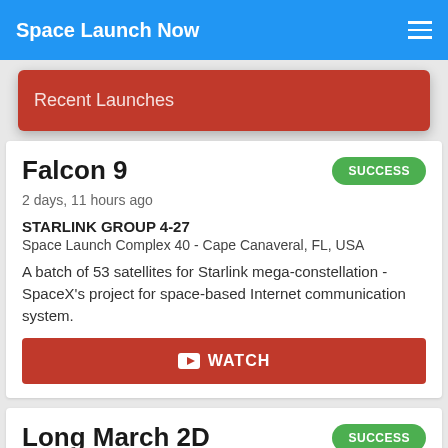Space Launch Now
Recent Launches
Falcon 9
SUCCESS
2 days, 11 hours ago
STARLINK GROUP 4-27
Space Launch Complex 40 - Cape Canaveral, FL, USA
A batch of 53 satellites for Starlink mega-constellation - SpaceX's project for space-based Internet communication system.
WATCH
Long March 2D
SUCCESS
2 days, 13 hours ago